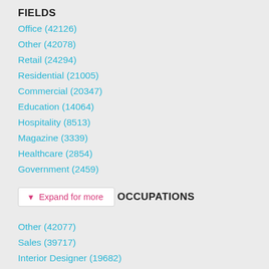FIELDS
Office (42126)
Other (42078)
Retail (24294)
Residential (21005)
Commercial (20347)
Education (14064)
Hospitality (8513)
Magazine (3339)
Healthcare (2854)
Government (2459)
Expand for more
OCCUPATIONS
Other (42077)
Sales (39717)
Interior Designer (19682)